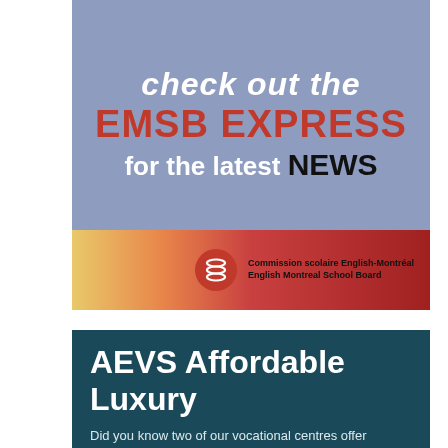[Figure (illustration): EMSB Express banner ad. Purple/blue background with large bold text: 'check out the EMSB EXPRESS for the latest NEWS'. Below is a horizontal color stripe bar (yellow, orange, red) with the English Montreal School Board logo (circular red icon) and text: 'Commission scolaire English-Montréal / English Montreal School Board'.]
AEVS Affordable Luxury
Did you know two of our vocational centres offer premium services at a discount?